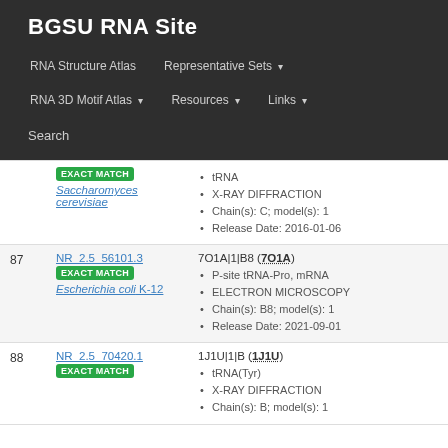BGSU RNA Site
RNA Structure Atlas | Representative Sets ▾ | RNA 3D Motif Atlas ▾ | Resources ▾ | Links ▾ | Search
| # | ID / Match | Structure Info |
| --- | --- | --- |
|  | NR_2.5_... EXACT MATCH Saccharomyces cerevisiae | tRNA • X-RAY DIFFRACTION • Chain(s): C; model(s): 1 • Release Date: 2016-01-06 |
| 87 | NR_2.5_56101.3 EXACT MATCH Escherichia coli K-12 | 7O1A|1|B8 (7O1A) • P-site tRNA-Pro, mRNA • ELECTRON MICROSCOPY • Chain(s): B8; model(s): 1 • Release Date: 2021-09-01 |
| 88 | NR_2.5_70420.1 EXACT MATCH | 1J1U|1|B (1J1U) • tRNA(Tyr) • X-RAY DIFFRACTION • Chain(s): B; model(s): 1 |